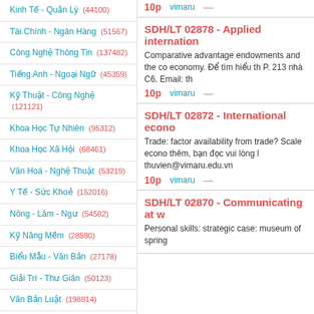Kinh Tế - Quản Lý (44100)
Tài Chính - Ngân Hàng (51567)
Công Nghệ Thông Tin (137482)
Tiếng Anh - Ngoại Ngữ (45359)
Kỹ Thuật - Công Nghệ (121121)
Khoa Học Tự Nhiên (95312)
Khoa Học Xã Hội (68461)
Văn Hoá - Nghệ Thuật (53219)
Y Tế - Sức Khoẻ (152016)
Nông - Lâm - Ngư (54582)
Kỹ Năng Mềm (28590)
Biểu Mẫu - Văn Bản (27178)
Giải Trí - Thư Giãn (50123)
Văn Bản Luật (198814)
Tài Liệu Phổ Thông (354979)
Trắc Nghiệm Online (213578)
10p   vimaru
SDH/LT 02878 - Applied internation
Comparative advantage endowments and the co economy. Để tìm hiểu th P. 213 nhà C6. Email: th
10p   vimaru
SDH/LT 02872 - International econo
Trade: factor availability from trade? Scale econo thêm, bạn đọc vui lòng l thuvien@vimaru.edu.vn
10p   vimaru
SDH/LT 02870 - Communicating at w
Personal skills: strategic case: museum of spring